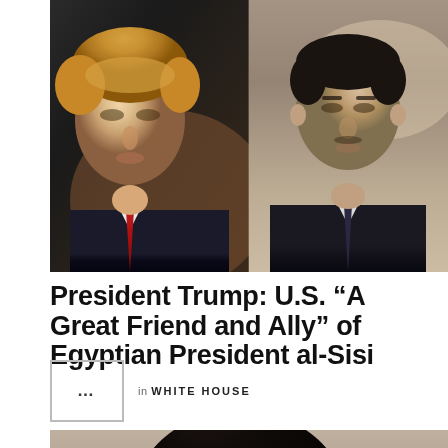[Figure (photo): Side-by-side photo of President Donald Trump (left, with blonde hair and red tie) and Egyptian President Abdel Fattah al-Sisi (right, in dark suit with tie), both shown in close-up portrait style.]
President Trump: U.S. "A Great Friend and Ally" of Egyptian President al-Sisi
... in WHITE HOUSE
[Figure (photo): Partial photo showing the top of a person's head, cropped at the bottom of the page.]